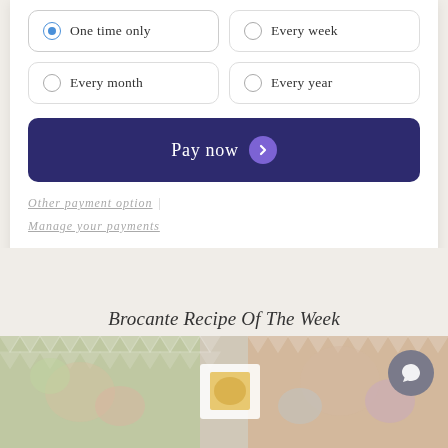[Figure (screenshot): Payment frequency radio button options: 'One time only' (selected), 'Every week', 'Every month', 'Every year' in a 2x2 grid]
Pay now
Other payment option | Manage your payments
Brocante Recipe Of The Week
[Figure (photo): Partial view of a food/recipe photo with floral and trellis background pattern]